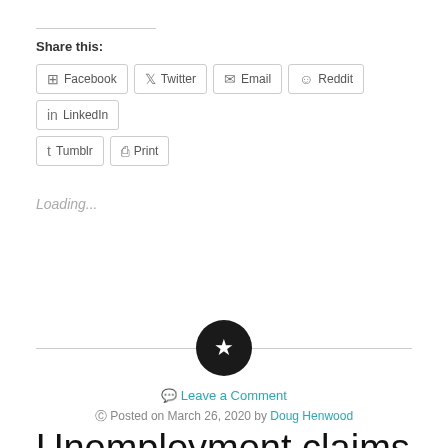Share this:
Facebook  Twitter  Email  Reddit  LinkedIn  Tumblr  Print
Loading...
Leave a Comment
Posted on March 26, 2020 by Doug Henwood
Unemployment claims surge